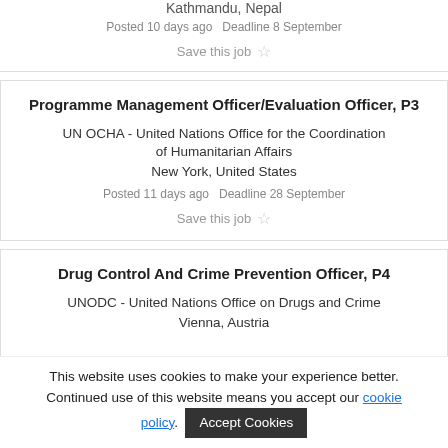Kathmandu, Nepal
Posted 10 days ago   Deadline 8 September
Save this job
Programme Management Officer/Evaluation Officer, P3
UN OCHA - United Nations Office for the Coordination of Humanitarian Affairs
New York, United States
Posted 11 days ago   Deadline 28 September
Save this job
Drug Control And Crime Prevention Officer, P4
UNODC - United Nations Office on Drugs and Crime
Vienna, Austria
This website uses cookies to make your experience better. Continued use of this website means you accept our cookie policy. Accept Cookies